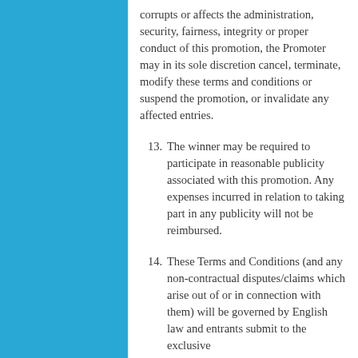corrupts or affects the administration, security, fairness, integrity or proper conduct of this promotion, the Promoter may in its sole discretion cancel, terminate, modify these terms and conditions or suspend the promotion, or invalidate any affected entries.
13. The winner may be required to participate in reasonable publicity associated with this promotion. Any expenses incurred in relation to taking part in any publicity will not be reimbursed.
14. These Terms and Conditions (and any non-contractual disputes/claims which arise out of or in connection with them) will be governed by English law and entrants submit to the exclusive